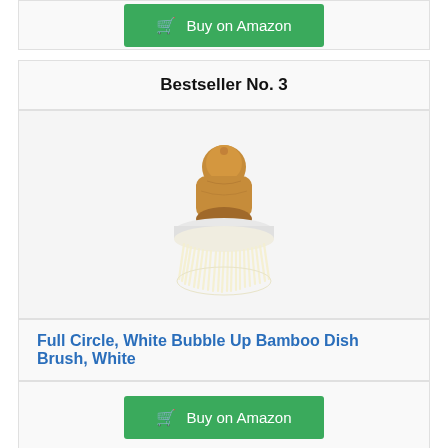[Figure (other): Buy on Amazon button at top of page]
Bestseller No. 3
[Figure (photo): Full Circle White Bubble Up Bamboo Dish Brush with wooden handle and white bristles]
Full Circle, White Bubble Up Bamboo Dish Brush, White
[Figure (other): Buy on Amazon button]
Bestseller No. 4